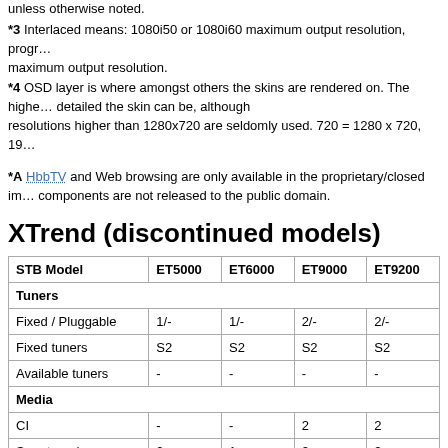unless otherwise noted.
*3 Interlaced means: 1080i50 or 1080i60 maximum output resolution, progr... maximum output resolution.
*4 OSD layer is where amongst others the skins are rendered on. The highe... detailed the skin can be, although resolutions higher than 1280x720 are seldomly used. 720 = 1280 x 720, 19...
*A HbbTV and Web browsing are only available in the proprietary/closed im... components are not released to the public domain.
XTrend (discontinued models)
| STB Model | ET5000 | ET6000 | ET9000 | ET9200 |
| --- | --- | --- | --- | --- |
| Tuners |  |  |  |  |
| Fixed / Pluggable | 1/- | 1/- | 2/- | 2/- |
| Fixed tuners | S2 | S2 | S2 | S2 |
| Available tuners | - | - | - | - |
| Media |  |  |  |  |
| CI | - | - | 2 | 2 |
| Smart card | 2 | 1 | 2 | 2 |
| HDMI | 1 | 1 | 1 | 1 |
| HDMI-CEC | + | + | + | + |
| Component video | + | + | + | + |